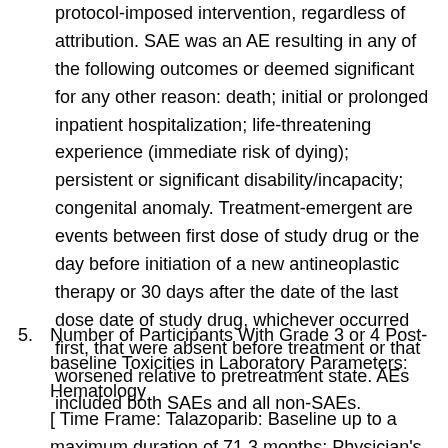protocol-imposed intervention, regardless of attribution. SAE was an AE resulting in any of the following outcomes or deemed significant for any other reason: death; initial or prolonged inpatient hospitalization; life-threatening experience (immediate risk of dying); persistent or significant disability/incapacity; congenital anomaly. Treatment-emergent are events between first dose of study drug or the day before initiation of a new antineoplastic therapy or 30 days after the date of the last dose date of study drug, whichever occurred first, that were absent before treatment or that worsened relative to pretreatment state. AEs included both SAEs and all non-SAEs.
5. Number of Participants With Grade 3 or 4 Post-baseline Toxicities in Laboratory Parameters: Hematology [ Time Frame: Talazoparib: Baseline up to a maximum duration of 71.3 months; Physician's Choice Treatment: